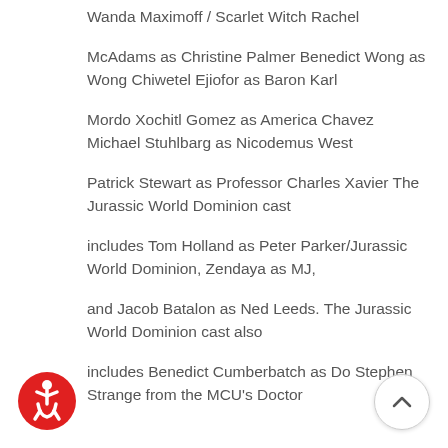Wanda Maximoff / Scarlet Witch Rachel
McAdams as Christine Palmer Benedict Wong as Wong Chiwetel Ejiofor as Baron Karl
Mordo Xochitl Gomez as America Chavez Michael Stuhlbarg as Nicodemus West
Patrick Stewart as Professor Charles Xavier The Jurassic World Dominion cast
includes Tom Holland as Peter Parker/Jurassic World Dominion, Zendaya as MJ,
and Jacob Batalon as Ned Leeds. The Jurassic World Dominion cast also
includes Benedict Cumberbatch as Do Stephen Strange from the MCU's Doctor